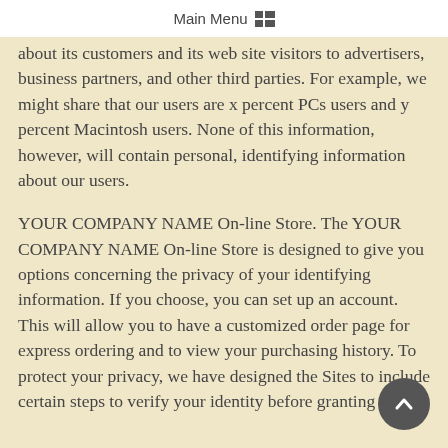Main Menu
about its customers and its web site visitors to advertisers, business partners, and other third parties. For example, we might share that our users are x percent PCs users and y percent Macintosh users. None of this information, however, will contain personal, identifying information about our users.
YOUR COMPANY NAME On-line Store. The YOUR COMPANY NAME On-line Store is designed to give you options concerning the privacy of your identifying information. If you choose, you can set up an account. This will allow you to have a customized order page for express ordering and to view your purchasing history. To protect your privacy, we have designed the Sites to include certain steps to verify your identity before granting